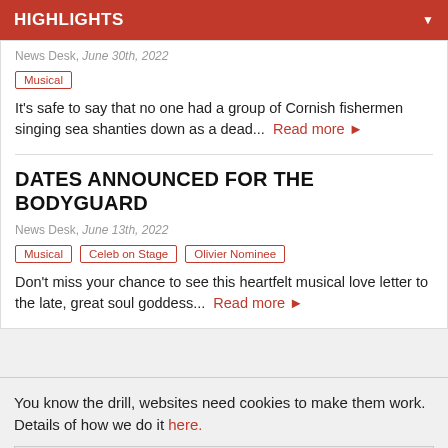HIGHLIGHTS
News Desk, June 30th, 2022
Musical
It's safe to say that no one had a group of Cornish fishermen singing sea shanties down as a dead...  Read more ▶
DATES ANNOUNCED FOR THE BODYGUARD
News Desk, June 13th, 2022
Musical  Celeb on Stage  Olivier Nominee
Don't miss your chance to see this heartfelt musical love letter to the late, great soul goddess...  Read more ▶
You know the drill, websites need cookies to make them work. Details of how we do it here.
Got it!